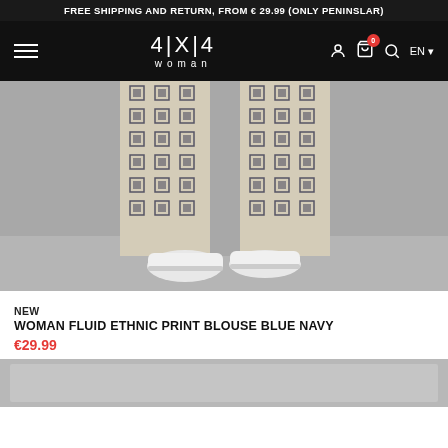FREE SHIPPING AND RETURN, FROM € 29.99 (ONLY PENINSLAR)
[Figure (logo): 4|X|4 woman brand logo on black navigation bar with hamburger menu, user icon, cart icon with badge 0, search icon, and EN language selector]
[Figure (photo): Product photo showing wide-leg pants with ethnic geometric print pattern in navy and beige, worn with white sneakers, on grey background]
NEW
WOMAN FLUID ETHNIC PRINT BLOUSE BLUE NAVY
€29.99
[Figure (photo): Partial view of a second product image strip at bottom of page]